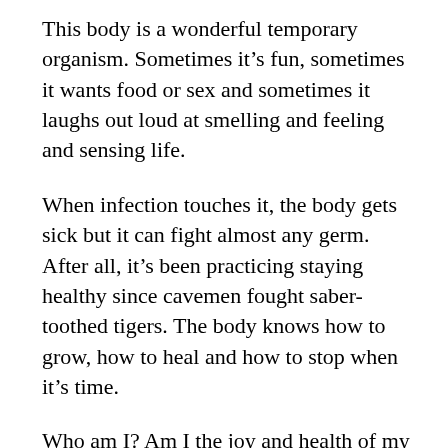This body is a wonderful temporary organism. Sometimes it's fun, sometimes it wants food or sex and sometimes it laughs out loud at smelling and feeling and sensing life.
When infection touches it, the body gets sick but it can fight almost any germ. After all, it's been practicing staying healthy since cavemen fought saber-toothed tigers. The body knows how to grow, how to heal and how to stop when it's time.
Who am I? Am I the joy and health of my body? What if living in the body is torture?
If I have AIDs or cancer, is that who I am? Am I